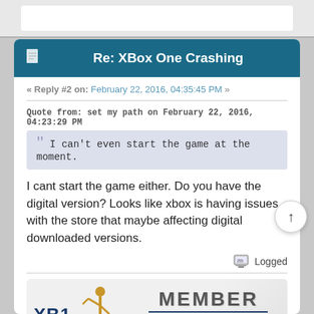Re: XBox One Crashing
« Reply #2 on: February 22, 2016, 04:35:45 PM »
Quote from: set my path on February 22, 2016, 04:23:29 PM
I can't even start the game at the moment.
I cant start the game either. Do you have the digital version? Looks like xbox is having issues with the store that maybe affecting digital downloaded versions.
Logged
[Figure (illustration): XB1 Players Club Member banner with golfer silhouette logo, Est. 2016]